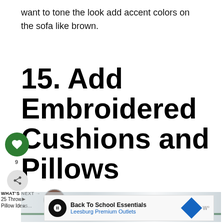want to tone the look add accent colors on the sofa like brown.
15. Add Embroidered Cushions and Pillows
WHAT'S NEXT → 25 Throw Pillow Ideas...
Back To School Essentials Leesburg Premium Outlets